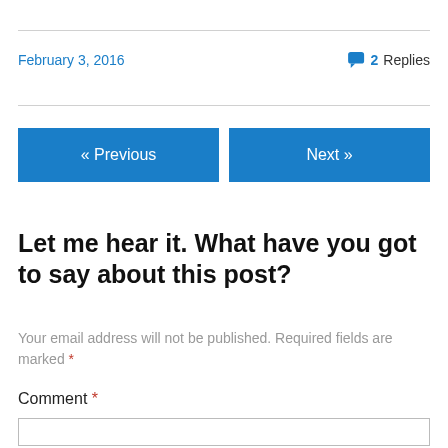February 3, 2016
2 Replies
« Previous
Next »
Let me hear it. What have you got to say about this post?
Your email address will not be published. Required fields are marked *
Comment *